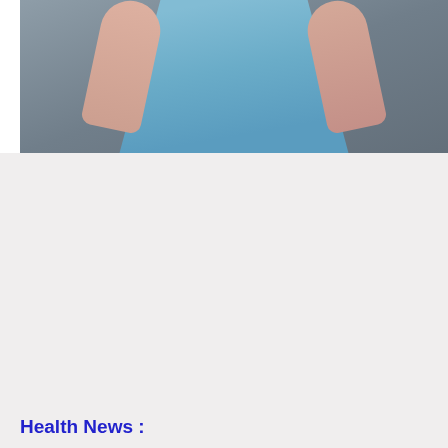[Figure (photo): Photo of a person wearing a light blue tank top, torso visible, arms slightly raised, against a grey background.]
Health News :